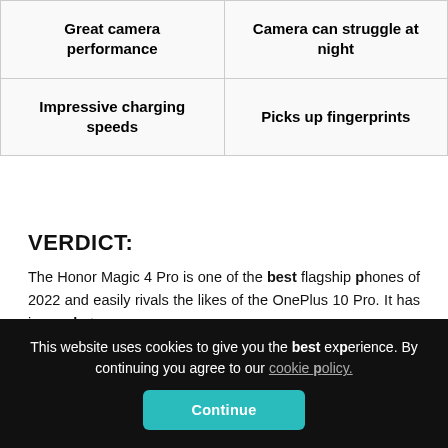| Pros | Cons |
| --- | --- |
| Great camera performance | Camera can struggle at night |
| Impressive charging speeds | Picks up fingerprints |
VERDICT:
The Honor Magic 4 Pro is one of the best flagship phones of 2022 and easily rivals the likes of the OnePlus 10 Pro. It has issues but
This website uses cookies to give you the best experience. By continuing you agree to our cookie policy.